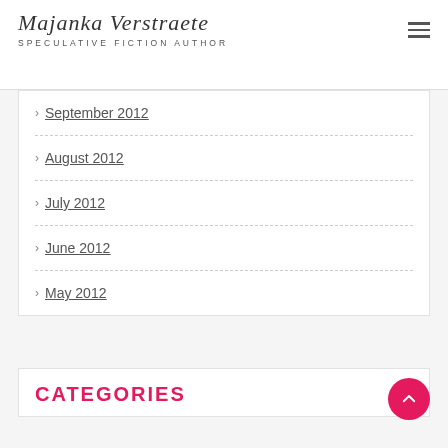Majanka Verstraete — SPECULATIVE FICTION AUTHOR
September 2012
August 2012
July 2012
June 2012
May 2012
CATEGORIES